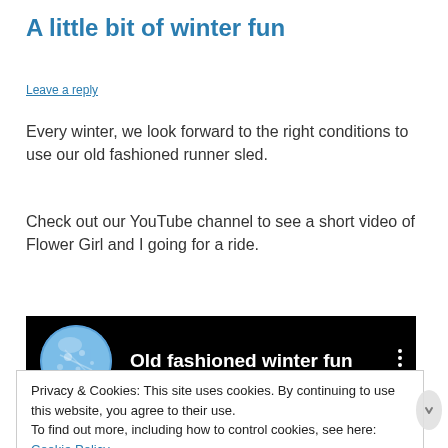A little bit of winter fun
Leave a reply
Every winter, we look forward to the right conditions to use our old fashioned runner sled.
Check out our YouTube channel to see a short video of Flower Girl and I going for a ride.
[Figure (screenshot): YouTube video thumbnail with circular channel avatar showing blossoms, white bold title 'Old fashioned winter fun' on black background, vertical dots menu icon on right]
Privacy & Cookies: This site uses cookies. By continuing to use this website, you agree to their use.
To find out more, including how to control cookies, see here: Cookie Policy

Close and accept